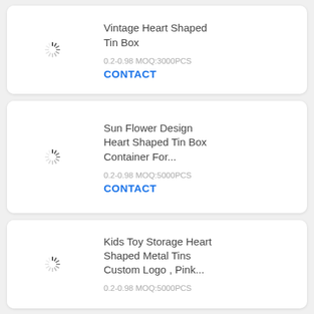Vintage Heart Shaped Tin Box
0.2-0.98 MOQ:3000PCS
CONTACT
Sun Flower Design Heart Shaped Tin Box Container For...
0.2-0.98 MOQ:5000PCS
CONTACT
Kids Toy Storage Heart Shaped Metal Tins Custom Logo , Pink...
0.2-0.98 MOQ:5000PCS